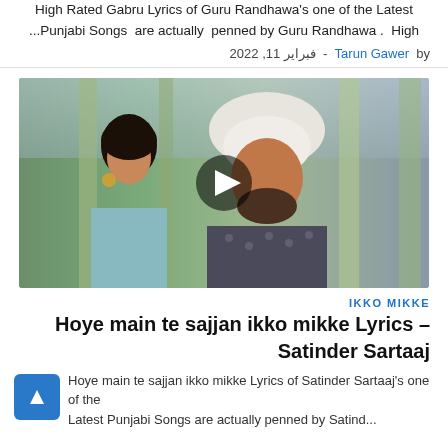High Rated Gabru Lyrics of Guru Randhawa's one of the Latest ...Punjabi Songs are actually penned by Guru Randhawa . High
by Tarun Gawer - فبرایر 11, 2022
[Figure (photo): Video thumbnail showing a man in white turban and a woman, with a play button overlay]
IKKO MIKKE
Hoye main te sajjan ikko mikke Lyrics – Satinder Sartaaj
Hoye main te sajjan ikko mikke Lyrics of Satinder Sartaaj's one of the Latest Punjabi Songs are actually penned by Satind...